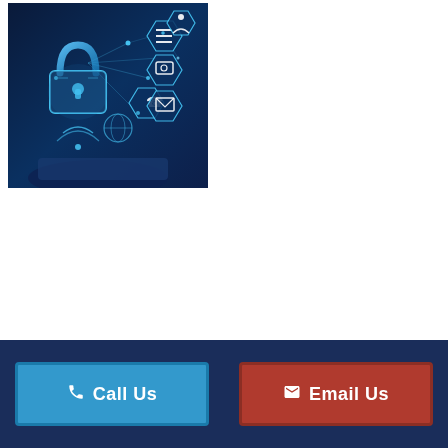[Figure (photo): Cybersecurity illustration showing a glowing padlock surrounded by digital hexagonal icons including phone, globe, message, and connectivity symbols on a dark blue background, with a hand holding a tablet.]
Call Us | Email Us